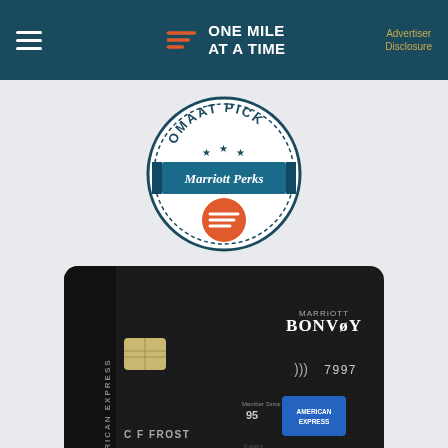ONE MILE AT A TIME — Advertiser Disclosure
[Figure (logo): OMAAT Pick badge with Marriott Perks label and One Mile At A Time logo icon in orange circle]
[Figure (photo): Marriott Bonvoy Brilliant American Express Card - black card with chip, NFC symbol showing 7997, Member Since 95, C F FROST cardholder name, American Express blue logo]
Marriott Bonvoy Brilliant™ American Express® Card
Earn 75,000 Marriott Bonvoy bonus points